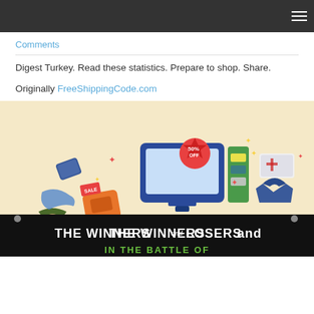Comments
Digest Turkey. Read these statistics. Prepare to shop. Share.
Originally FreeShippingCode.com
[Figure (illustration): Infographic showing people holding up shopping items with text 'THE WINNERS and LOSERS IN THE BATTLE OF' at the bottom. Various sale items floating including a TV with 50% OFF label, game consoles, clothes, and other products.]